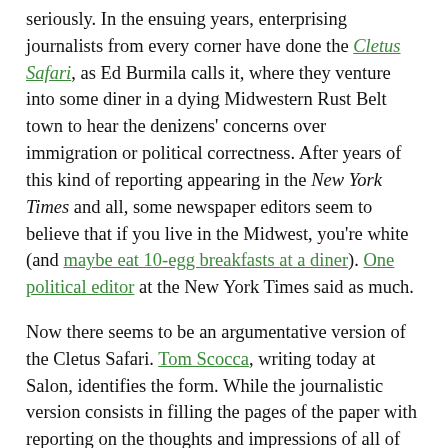seriously. In the ensuing years, enterprising journalists from every corner have done the Cletus Safari, as Ed Burmila calls it, where they venture into some diner in a dying Midwestern Rust Belt town to hear the denizens' concerns over immigration or political correctness. After years of this kind of reporting appearing in the New York Times and all, some newspaper editors seem to believe that if you live in the Midwest, you're white (and maybe eat 10-egg breakfasts at a diner). One political editor at the New York Times said as much.
Now there seems to be an argumentative version of the Cletus Safari. Tom Scocca, writing today at Salon, identifies the form. While the journalistic version consists in filling the pages of the paper with reporting on the thoughts and impressions of all of those forgotten people no one hears from, the argumentative version summons these impressions into a point of view that occupies some important dialectical space. Scocca writes: